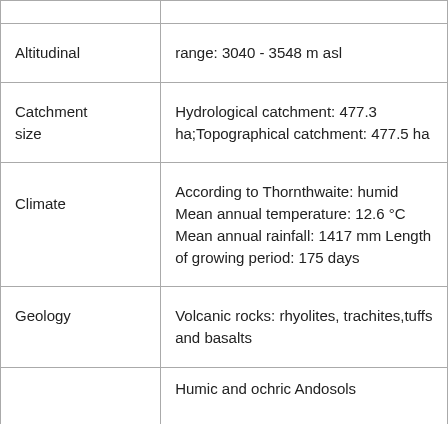| Altitudinal | range: 3040 - 3548 m asl |
| Catchment size | Hydrological catchment: 477.3 ha;Topographical catchment: 477.5 ha |
| Climate | According to Thornthwaite: humid Mean annual temperature: 12.6 °C Mean annual rainfall: 1417 mm Length of growing period: 175 days |
| Geology | Volcanic rocks: rhyolites, trachites,tuffs and basalts |
|  | Humic and ochric Andosols |